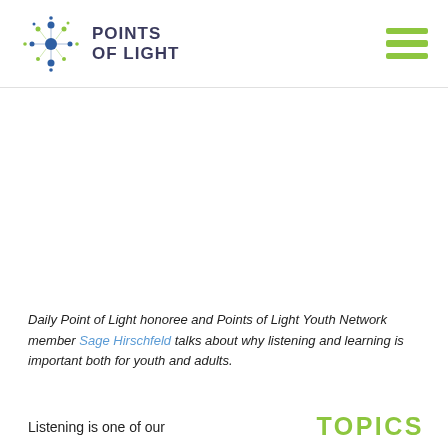[Figure (logo): Points of Light logo — a star/asterisk shape made of blue and green dots on a white background, with the text POINTS OF LIGHT in dark navy bold capitals beside it]
[Figure (illustration): Hamburger menu icon — three horizontal green bars stacked vertically]
[Figure (photo): Large white/blank image area below the header (video or photo placeholder)]
Daily Point of Light honoree and Points of Light Youth Network member Sage Hirschfeld talks about why listening and learning is important both for youth and adults.
Listening is one of our
TOPICS